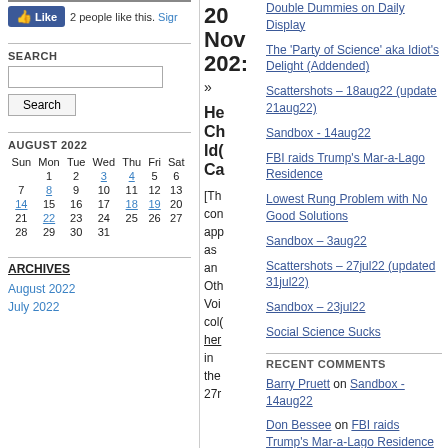[Figure (screenshot): Facebook Like button widget showing 2 people like this with Sign up link]
SEARCH
Search input box and Search button
AUGUST 2022
| Sun | Mon | Tue | Wed | Thu | Fri | Sat |
| --- | --- | --- | --- | --- | --- | --- |
|  | 1 | 2 | 3 | 4 | 5 | 6 |
| 7 | 8 | 9 | 10 | 11 | 12 | 13 |
| 14 | 15 | 16 | 17 | 18 | 19 | 20 |
| 21 | 22 | 23 | 24 | 25 | 26 | 27 |
| 28 | 29 | 30 | 31 |  |  |  |
ARCHIVES
August 2022
July 2022
20 Nov 2022
»
He Ch Id Ca [Th con app as an Oth Voi col her in the 27r
Double Dummies on Daily Display
The 'Party of Science' aka Idiot's Delight (Addended)
Scattershots – 18aug22 (update 21aug22)
Sandbox - 14aug22
FBI raids Trump's Mar-a-Lago Residence
Lowest Rung Problem with No Good Solutions
Sandbox – 3aug22
Scattershots – 27jul22 (updated 31jul22)
Sandbox – 23jul22
Social Science Sucks
RECENT COMMENTS
Barry Pruett on Sandbox - 14aug22
Don Bessee on FBI raids Trump's Mar-a-Lago Residence
Don Bessee on Sandbox - 14aug22